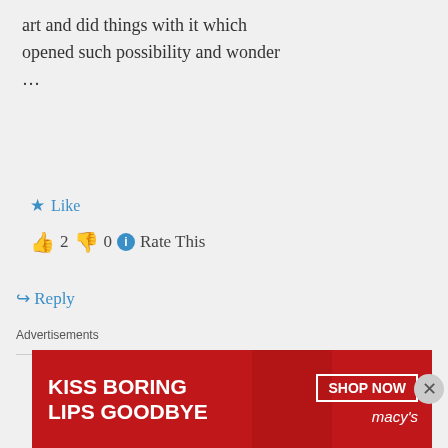art and did things with it which opened such possibility and wonder …
👍 2 👎 0 ℹ Rate This
↪ Reply
Paul O'Connor on October 17, 2012 at 3:23 pm
And nearly every book you mention there is a favorite,
Advertisements
[Figure (photo): Macy's advertisement banner: KISS BORING LIPS GOODBYE with SHOP NOW button and Macy's logo, featuring a woman's face]